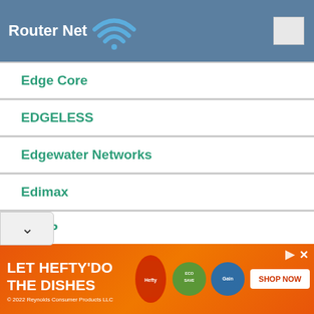Router Net
Edge Core
EDGELESS
Edgewater Networks
Edimax
EDUP
EDUPLINK
EE
eero
OME (partial)
[Figure (screenshot): Advertisement banner: LET HEFTY DO THE DISHES - SHOP NOW. © 2022 Reynolds Consumer Products LLC]